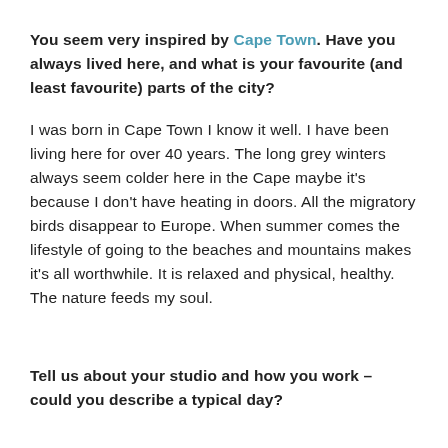You seem very inspired by Cape Town. Have you always lived here, and what is your favourite (and least favourite) parts of the city?
I was born in Cape Town I know it well. I have been living here for over 40 years. The long grey winters always seem colder here in the Cape maybe it’s because I don’t have heating in doors. All the migratory birds disappear to Europe. When summer comes the lifestyle of going to the beaches and mountains makes it’s all worthwhile. It is relaxed and physical, healthy. The nature feeds my soul.
Tell us about your studio and how you work – could you describe a typical day?